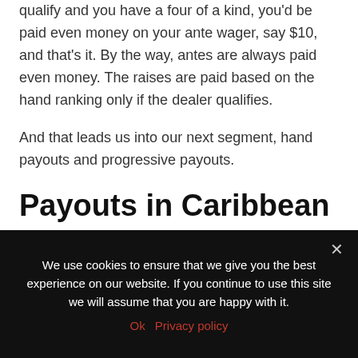qualify and you have a four of a kind, you'd be paid even money on your ante wager, say $10, and that's it. By the way, antes are always paid even money. The raises are paid based on the hand ranking only if the dealer qualifies.
And that leads us into our next segment, hand payouts and progressive payouts.
Payouts in Caribbean Stud Poker
We use cookies to ensure that we give you the best experience on our website. If you continue to use this site we will assume that you are happy with it.